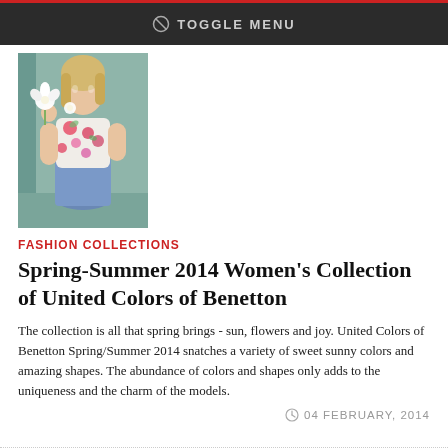TOGGLE MENU
[Figure (photo): Young woman in a floral blouse and denim skirt holding a white flower, standing against a teal/grey background.]
FASHION COLLECTIONS
Spring-Summer 2014 Women's Collection of United Colors of Benetton
The collection is all that spring brings - sun, flowers and joy. United Colors of Benetton Spring/Summer 2014 snatches a variety of sweet sunny colors and amazing shapes. The abundance of colors and shapes only adds to the uniqueness and the charm of the models.
04 FEBRUARY, 2014